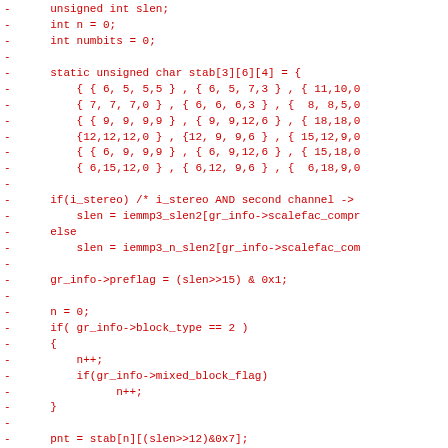Code diff showing removed lines (in red) from a C source file related to MP3 decoding (iemmp3 library). Lines include variable declarations (unsigned int slen, int n, int numbits), a static array stab[3][6][4] initialization, conditional logic for i_stereo channel, scalefac_compr lookups, preflag calculation, block_type checks, mixed_block_flag handling, and array indexing pnt = stab[n][(slen>>12)&0x7].